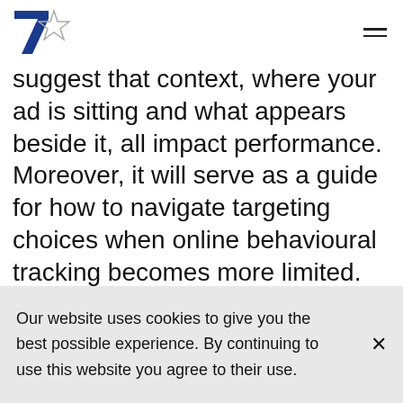7Star logo and navigation menu
suggest that context, where your ad is sitting and what appears beside it, all impact performance. Moreover, it will serve as a guide for how to navigate targeting choices when online behavioural tracking becomes more limited.
Our website uses cookies to give you the best possible experience. By continuing to use this website you agree to their use.